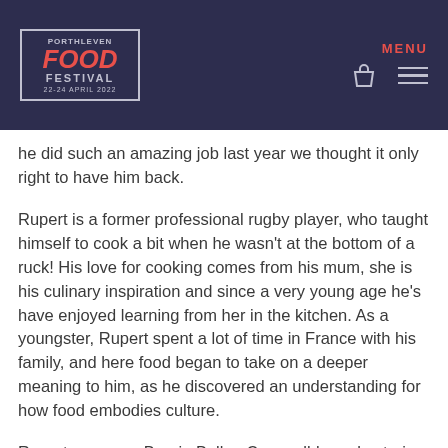[Figure (logo): Porthleven Food Festival logo with dark navy background, red FOOD text, grey PORTHLEVEN and FESTIVAL text, date 22-24 April 2022]
MENU
he did such an amazing job last year we thought it only right to have him back.
Rupert is a former professional rugby player, who taught himself to cook a bit when he wasn't at the bottom of a ruck! His love for cooking comes from his mum, she is his culinary inspiration and since a very young age he's have enjoyed learning from her in the kitchen. As a youngster, Rupert spent a lot of time in France with his family, and here food began to take on a deeper meaning to him, as he discovered an understanding for how food embodies culture.
Rupert now runs Borgia Bull, a Cornwall-based catering company, specialising in distinctive dinner party events and wine tastings as well as offering the unique opportunity to visit the Borgia